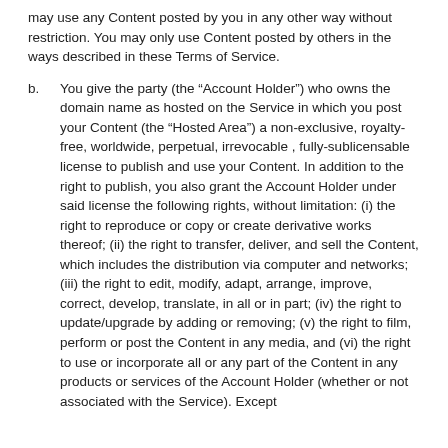may use any Content posted by you in any other way without restriction. You may only use Content posted by others in the ways described in these Terms of Service.
b. You give the party (the “Account Holder”) who owns the domain name as hosted on the Service in which you post your Content (the “Hosted Area”) a non-exclusive, royalty-free, worldwide, perpetual, irrevocable , fully-sublicensable license to publish and use your Content. In addition to the right to publish, you also grant the Account Holder under said license the following rights, without limitation: (i) the right to reproduce or copy or create derivative works thereof; (ii) the right to transfer, deliver, and sell the Content, which includes the distribution via computer and networks; (iii) the right to edit, modify, adapt, arrange, improve, correct, develop, translate, in all or in part; (iv) the right to update/upgrade by adding or removing; (v) the right to film, perform or post the Content in any media, and (vi) the right to use or incorporate all or any part of the Content in any products or services of the Account Holder (whether or not associated with the Service). Except